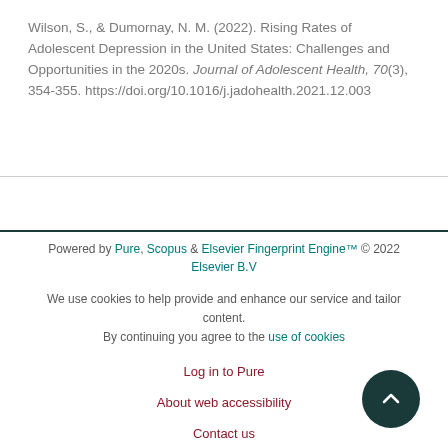Wilson, S., & Dumornay, N. M. (2022). Rising Rates of Adolescent Depression in the United States: Challenges and Opportunities in the 2020s. Journal of Adolescent Health, 70(3), 354-355. https://doi.org/10.1016/j.jadohealth.2021.12.003
Powered by Pure, Scopus & Elsevier Fingerprint Engine™ © 2022 Elsevier B.V

We use cookies to help provide and enhance our service and tailor content. By continuing you agree to the use of cookies

Log in to Pure

About web accessibility

Contact us